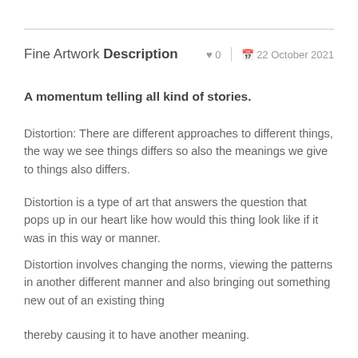Fine Artwork Description
♥ 0   📅 22 October 2021
A momentum telling all kind of stories.
Distortion: There are different approaches to different things, the way we see things differs so also the meanings we give to things also differs.
Distortion is a type of art that answers the question that pops up in our heart like how would this thing look like if it was in this way or manner.
Distortion involves changing the norms, viewing the patterns in another different manner and also bringing out something new out of an existing thing
thereby causing it to have another meaning.